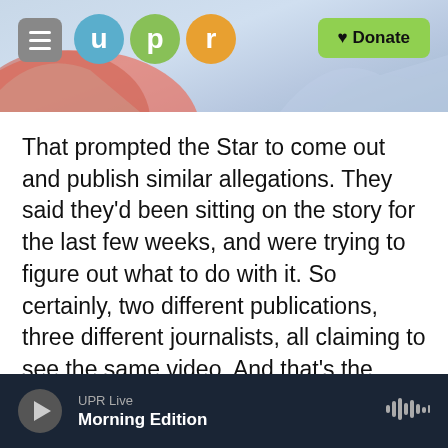UPR header with logo and Donate button
That prompted the Star to come out and publish similar allegations. They said they'd been sitting on the story for the last few weeks, and were trying to figure out what to do with it. So certainly, two different publications, three different journalists, all claiming to see the same video. And that's the video that Rob Ford now says doesn't exist.
BLOCK: Mayor Ford is 43 years old. He comes from a prominent political family and has had popular support in the past, I gather, a lot of support. But he's also no stranger to controversy and in
UPR Live
Morning Edition